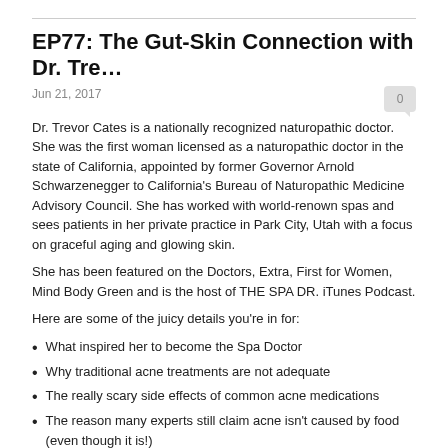EP77: The Gut-Skin Connection with Dr. Tre…
Jun 21, 2017
Dr. Trevor Cates is a nationally recognized naturopathic doctor. She was the first woman licensed as a naturopathic doctor in the state of California, appointed by former Governor Arnold Schwarzenegger to California's Bureau of Naturopathic Medicine Advisory Council. She has worked with world-renown spas and sees patients in her private practice in Park City, Utah with a focus on graceful aging and glowing skin.
She has been featured on the Doctors, Extra, First for Women, Mind Body Green and is the host of THE SPA DR. iTunes Podcast.
Here are some of the juicy details you're in for:
What inspired her to become the Spa Doctor
Why traditional acne treatments are not adequate
The really scary side effects of common acne medications
The reason many experts still claim acne isn't caused by food (even though it is!)
Why our skin is our magic mirror
The 4 most common causes of skin issues today
The two WORST foods for you skin